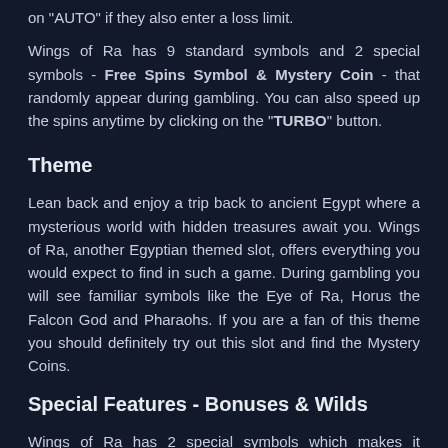on "AUTO" if they also enter a loss limit.
Wings of Ra has 9 standard symbols and 2 special symbols - Free Spins Symbol & Mystery Coin - that randomly appear during gambling. You can also speed up the spins anytime by clicking on the "TURBO" button.
Theme
Lean back and enjoy a trip back to ancient Egypt where a mysterious world with hidden treasures await you. Wings of Ra, another Egyptian themed slot, offers everything you would expect to find in such a game. During gambling you will see familiar symbols like the Eye of Ra, Horus the Falcon God and Pharaohs. If you are a fan of this theme you should definitely try out this slot and find the Mystery Coins.
Special Features - Bonuses & Wilds
Wings of Ra has 2 special symbols which makes it somewhat interesting to play but we personally would like to have some more action.